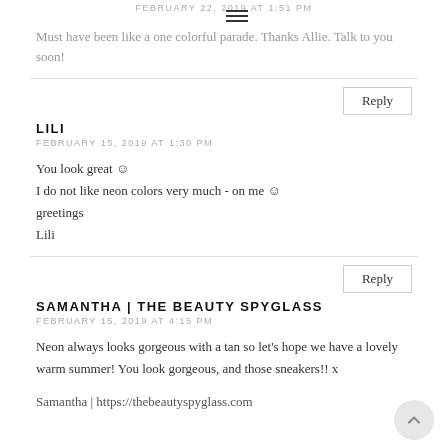FEBRUARY 22, 2019 AT 1:51 PM
Must have been like a one colorful parade. Thanks Allie. Talk to you soon!
Reply
LILI
FEBRUARY 15, 2019 AT 1:30 PM
You look great ☺
I do not like neon colors very much - on me ☺
greetings
Lili
Reply
SAMANTHA | THE BEAUTY SPYGLASS
FEBRUARY 15, 2019 AT 4:15 PM
Neon always looks gorgeous with a tan so let's hope we have a lovely warm summer! You look gorgeous, and those sneakers!! x
Samantha | https://thebeautyspyglass.com